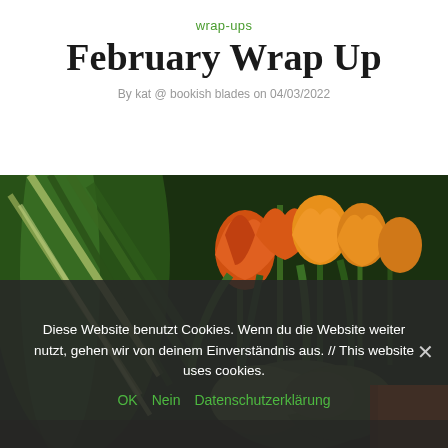wrap-ups
February Wrap Up
By kat @ bookish blades on 04/03/2022
[Figure (photo): Close-up photo of orange/yellow tulips and green plants arranged together, with an orange book visible in the bottom right corner]
Diese Website benutzt Cookies. Wenn du die Website weiter nutzt, gehen wir von deinem Einverständnis aus. // This website uses cookies.
OK   Nein   Datenschutzerklärung